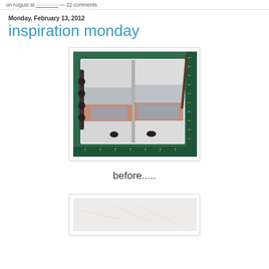on August at ................ — 22 comments
Monday, February 13, 2012
inspiration monday
[Figure (photo): Open book/journal lying on a green cutting mat, showing abstract painted pages with washes of blue, salmon/terracotta, and grey colors. A dark cord-bound spine is visible on the left, and a ruler edge appears on the right.]
before.....
[Figure (photo): Partial view of a white or light-colored page, cropped at bottom of visible area.]